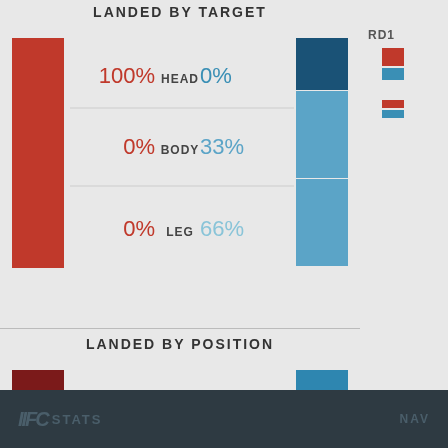LANDED BY TARGET
[Figure (bar-chart): LANDED BY TARGET]
LANDED BY POSITION
[Figure (bar-chart): LANDED BY POSITION]
RD1
UFC STATS   NAV